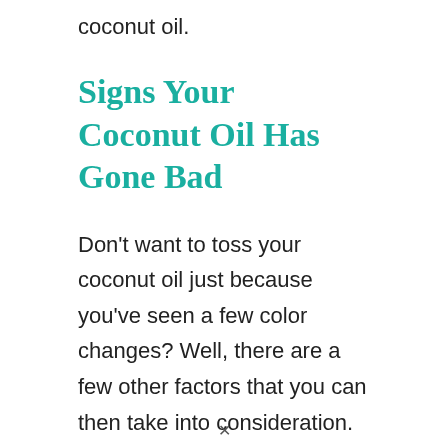coconut oil.
Signs Your Coconut Oil Has Gone Bad
Don't want to toss your coconut oil just because you've seen a few color changes? Well, there are a few other factors that you can then take into consideration.
×